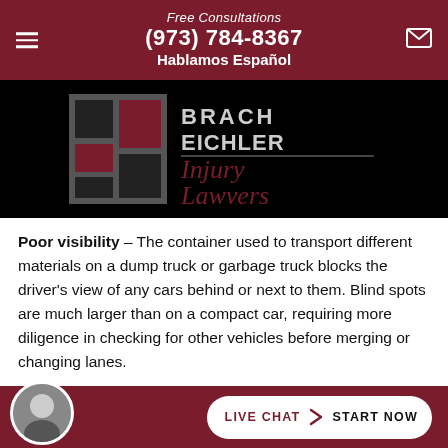Free Consultations
(973) 784-8367
Hablamos Español
[Figure (logo): Brach Eichler Injury Lawyers logo on black background]
Poor visibility – The container used to transport different materials on a dump truck or garbage truck blocks the driver's view of any cars behind or next to them. Blind spots are much larger than on a compact car, requiring more diligence in checking for other vehicles before merging or changing lanes.
High center of gravity – Commercial trucks have a high center of gravity...easier
[Figure (infographic): Live Chat / Start Now button bar with attorney avatar photo at bottom of page]